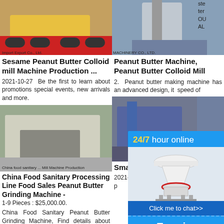[Figure (photo): Yellow heavy machinery on red truck flatbed transport]
Sesame Peanut Butter Colloid mill Machine Production ...
2021-10-27  Be the first to learn about promotions special events, new arrivals and more.
[Figure (photo): Industrial grinding/crushing machinery in quarry site]
China Food Sanitary Processing Line Food Sales Peanut Butter Grinding Machine -
1-9 Pieces : $25,000.00.
China Food Sanitary Peanut Butter Grinding Machine, Find details about China Peanut
[Figure (photo): Industrial vertical conveyor/silo machinery tower]
Peanut Butter Machine, Peanut Butter Colloid Mill
2. Peanut butter making machine has an advanced design, it speed of
[Figure (photo): Blue machinery equipment in outdoor industrial setting]
Small Inc Butter M
2021-4-30 fineness making ma 40UM, p
[Figure (infographic): 24/7 hour online chat popup with cone crusher machine image, Click me to chat button, Enquiry section, and limingjlmofen username]